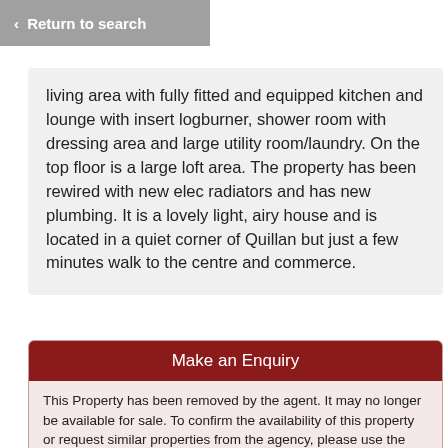< Return to search
living area with fully fitted and equipped kitchen and lounge with insert logburner, shower room with dressing area and large utility room/laundry. On the top floor is a large loft area. The property has been rewired with new elec radiators and has new plumbing. It is a lovely light, airy house and is located in a quiet corner of Quillan but just a few minutes walk to the centre and commerce.
Make an Enquiry
This Property has been removed by the agent. It may no longer be available for sale. To confirm the availability of this property or request similar properties from the agency, please use the